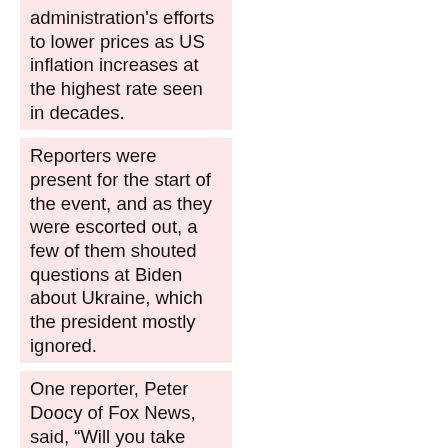administration's efforts to lower prices as US inflation increases at the highest rate seen in decades.
Reporters were present for the start of the event, and as they were escorted out, a few of them shouted questions at Biden about Ukraine, which the president mostly ignored.
One reporter, Peter Doocy of Fox News, said, “Will you take questions on inflation then? Do you think inflation is a political liability ahead of the midterms?”